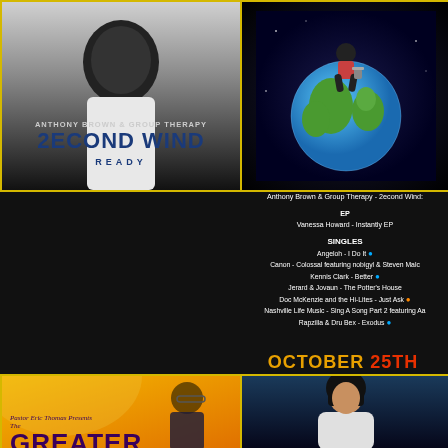[Figure (photo): Album cover for Anthony Brown & Group TherAPy - 2econd Wind: Ready. Dark blue/grey tones with figure in white suit.]
[Figure (illustration): Cartoon figure sitting on top of a globe/Earth against dark space background.]
Anthony Brown & Group Therapy - 2econd Wind:
EP
Vanessa Howard - Instantly EP
SINGLES
Angeloh - I Do It
Canon - Colossal featuring nobigyl & Steven Malc
Kennis Clark - Better
Jerard & Jovaun - The Potter's House
Doc McKenzie and the Hi-Lites - Just Ask
Nashville Life Music - Sing A Song Part 2 featuring Aa
Rapzilla & Dru Bex - Exodus
OCTOBER 25TH
[Figure (photo): Album/event cover: Pastor Eric Thomas Presents The GREATER - gold/orange background with man in glasses.]
[Figure (photo): Photo of a woman (singer/artist) against dark blue background.]